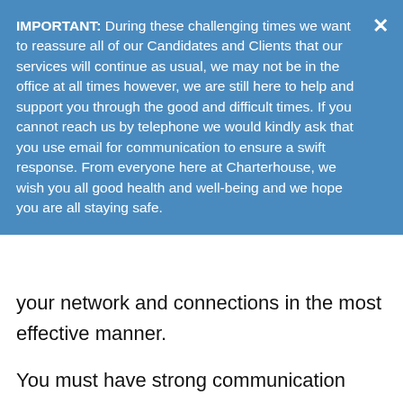IMPORTANT: During these challenging times we want to reassure all of our Candidates and Clients that our services will continue as usual, we may not be in the office at all times however, we are still here to help and support you through the good and difficult times. If you cannot reach us by telephone we would kindly ask that you use email for communication to ensure a swift response. From everyone here at Charterhouse, we wish you all good health and well-being and we hope you are all staying safe.
your network and connections in the most effective manner.
You must have strong communication skills in English, both written and verbal. Preference will be given to candidates with an extensive network with regional and international engineering and design consultancies.